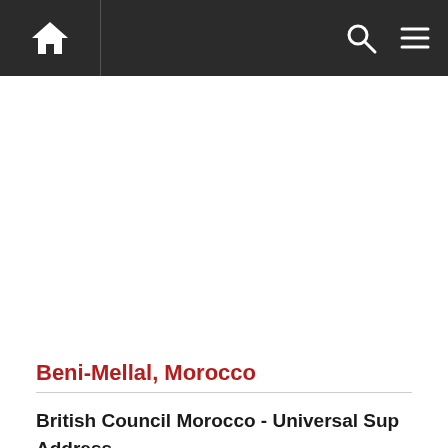Home | Search | Menu
Beni-Mellal, Morocco
British Council Morocco - Universal Sup
Address